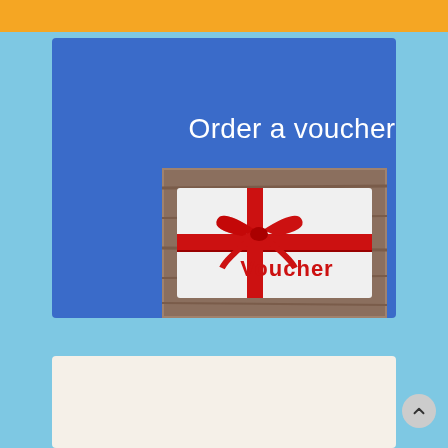Order a voucher
[Figure (photo): A white gift envelope with a red ribbon and bow on a wooden background, with the word 'Voucher' printed in red text on the front]
Digital guest directory